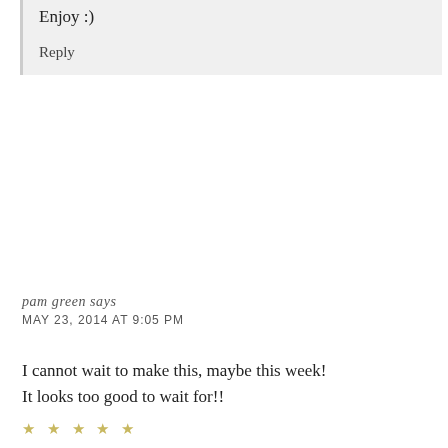Enjoy :)
Reply
pam green says
MAY 23, 2014 AT 9:05 PM
I cannot wait to make this, maybe this week! It looks too good to wait for!!
★ ★ ★ ★ ★